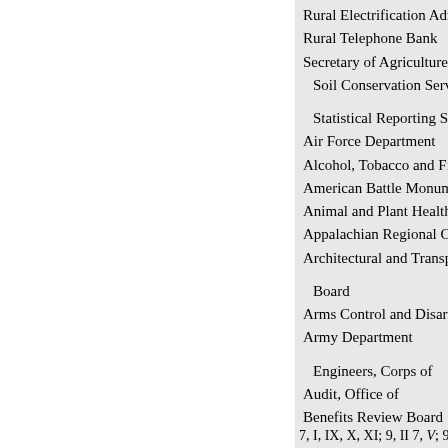Rural Electrification Adm...
Rural Telephone Bank
Secretary of Agriculture, O...
Soil Conservation Servic...
Statistical Reporting Servi...
Air Force Department
Alcohol, Tobacco and Firea...
American Battle Monument...
Animal and Plant Health Ins...
Appalachian Regional Com...
Architectural and Transport...
Board
Arms Control and Disarman...
Army Department
Engineers, Corps of
Audit, Office of
Benefits Review Board
Blind and Other Severely H...
Purchases from
7, I, IX, X, XI; 9, II 7, V; 9, IV...